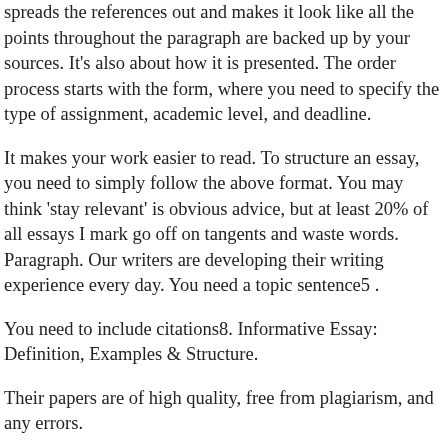spreads the references out and makes it look like all the points throughout the paragraph are backed up by your sources. It's also about how it is presented. The order process starts with the form, where you need to specify the type of assignment, academic level, and deadline.
It makes your work easier to read. To structure an essay, you need to simply follow the above format. You may think 'stay relevant' is obvious advice, but at least 20% of all essays I mark go off on tangents and waste words. Paragraph. Our writers are developing their writing experience every day. You need a topic sentence5 .
You need to include citations8. Informative Essay: Definition, Examples & Structure.
Their papers are of high quality, free from plagiarism, and any errors.